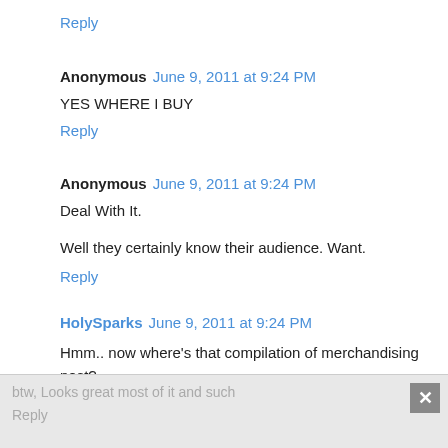Reply
Anonymous June 9, 2011 at 9:24 PM
YES WHERE I BUY
Reply
Anonymous June 9, 2011 at 9:24 PM
Deal With It.

Well they certainly know their audience. Want.
Reply
HolySparks June 9, 2011 at 9:24 PM
Hmm.. now where's that compilation of merchandising post?
Also.. where can I buy those?
btw, Looks great most of it and such
Reply